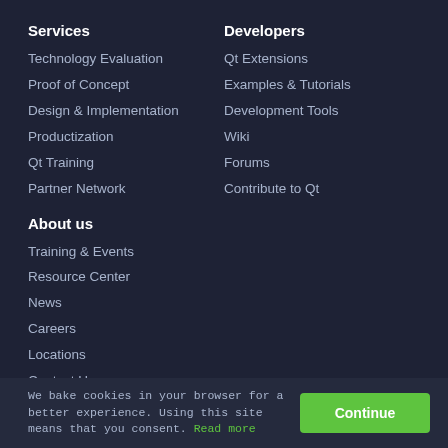Services
Technology Evaluation
Proof of Concept
Design & Implementation
Productization
Qt Training
Partner Network
Developers
Qt Extensions
Examples & Tutorials
Development Tools
Wiki
Forums
Contribute to Qt
About us
Training & Events
Resource Center
News
Careers
Locations
Contact Us
We bake cookies in your browser for a better experience. Using this site means that you consent. Read more